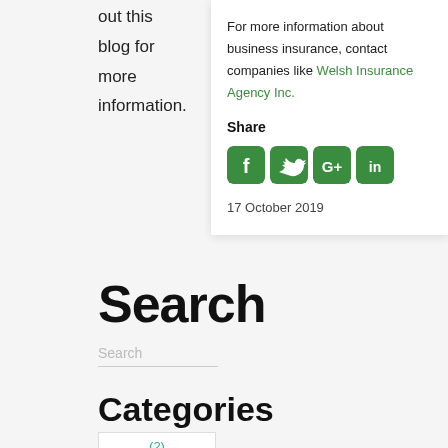out this blog for more information.
For more information about business insurance, contact companies like Welsh Insurance Agency Inc.
Share
[Figure (other): Social sharing icons: Facebook, Twitter, Google+, LinkedIn — all with green rounded square backgrounds]
17 October 2019
Search
Search
Categories
(2)
blog (58)
insura